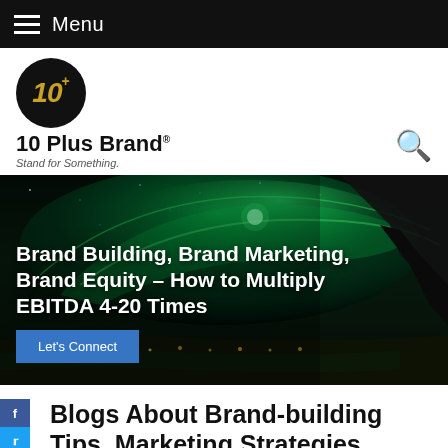Menu
[Figure (logo): 10 Plus Brand logo — black circle with gold italic '10+' text, brand name '10 Plus Brand' and tagline 'Stand for Something.']
[Figure (photo): Northern lights (aurora borealis) over a coastal landscape at night with green glowing sky and rocky cliffs on the right]
Brand Building, Brand Marketing, Brand Equity – How to Multiply EBITDA 4-20 Times
Let's Connect
Blogs About Brand-building Tips, Marketing Strategies, Insights & Stories